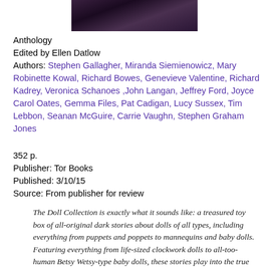[Figure (photo): Dark partial image of a doll or figure at top center of page]
Anthology
Edited by Ellen Datlow
Authors: Stephen Gallagher, Miranda Siemienowicz, Mary Robinette Kowal, Richard Bowes, Genevieve Valentine, Richard Kadrey, Veronica Schanoes ,John Langan, Jeffrey Ford, Joyce Carol Oates, Gemma Files, Pat Cadigan, Lucy Sussex, Tim Lebbon, Seanan McGuire, Carrie Vaughn, Stephen Graham Jones
352 p.
Publisher: Tor Books
Published: 3/10/15
Source: From publisher for review
The Doll Collection is exactly what it sounds like: a treasured toy box of all-original dark stories about dolls of all types, including everything from puppets and poppets to mannequins and baby dolls. Featuring everything from life-sized clockwork dolls to all-too-human Betsy Wetsy-type baby dolls, these stories play into the true creepiness of the doll trope, but avoid the clichés